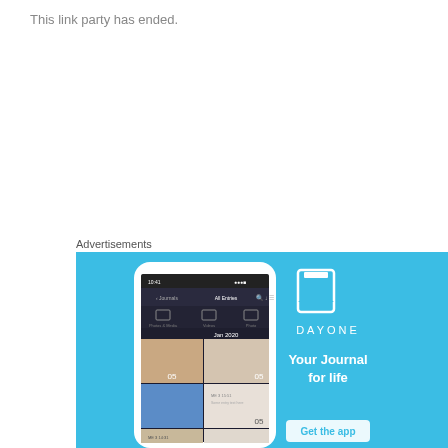This link party has ended.
Advertisements
[Figure (illustration): DayOne app advertisement on blue background showing a smartphone with the DayOne journal app open, displaying photo entries. To the right: DayOne logo (bookmark icon), text 'DAYONE', 'Your Journal for life', and a 'Get the app' button.]